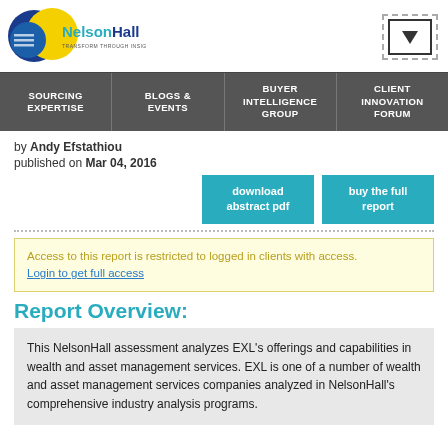[Figure (logo): NelsonHall logo with blue and yellow circular graphic and text 'NelsonHall TRANSFORM THROUGH INSIGHT']
SOURCING EXPERTISE | BLOGS & EVENTS | BUYER INTELLIGENCE GROUP | CLIENT INNOVATION FORUM
by Andy Efstathiou
published on Mar 04, 2016
download abstract pdf
buy the full report
Access to this report is restricted to logged in clients with access. Login to get full access
Report Overview:
This NelsonHall assessment analyzes EXL's offerings and capabilities in wealth and asset management services. EXL is one of a number of wealth and asset management services companies analyzed in NelsonHall's comprehensive industry analysis programs.